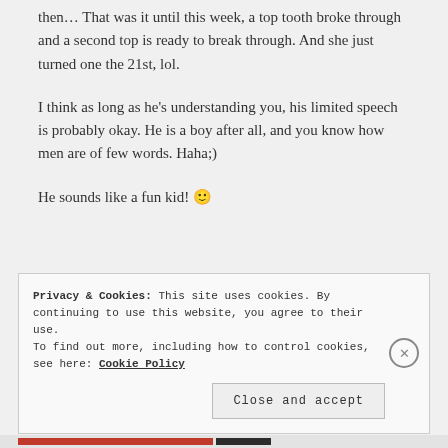then... That was it until this week, a top tooth broke through and a second top is ready to break through. And she just turned one the 21st, lol.
I think as long as he’s understanding you, his limited speech is probably okay. He is a boy after all, and you know how men are of few words. Haha;)
He sounds like a fun kid! 🙂
Privacy & Cookies: This site uses cookies. By continuing to use this website, you agree to their use.
To find out more, including how to control cookies, see here: Cookie Policy
Close and accept